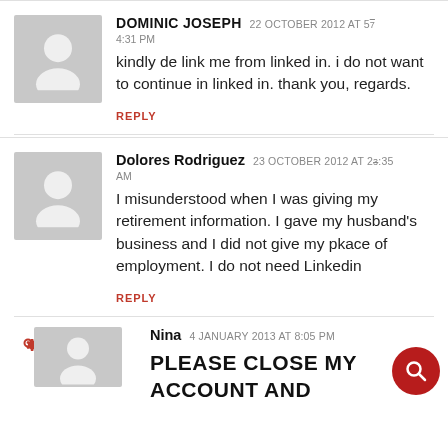DOMINIC JOSEPH  22 OCTOBER 2012 AT 57  4:31 PM
kindly de link me from linked in. i do not want to continue in linked in. thank you, regards.
REPLY
Dolores Rodriguez  23 OCTOBER 2012 AT 2:35 AM
I misunderstood when I was giving my retirement information. I gave my husband’s business and I did not give my pkace of employment. I do not need Linkedin
REPLY
Nina  4 JANUARY 2013 AT 8:05 PM
PLEASE CLOSE MY ACCOUNT AND